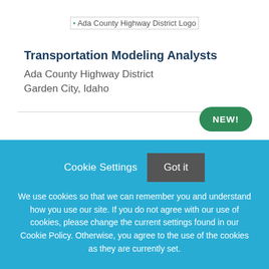[Figure (logo): Ada County Highway District Logo]
Transportation Modeling Analysts
Ada County Highway District
Garden City, Idaho
NEW!
Cookie Settings
Got it
We use cookies so that we can remember you and understand how you use our site. If you do not agree with our use of cookies, please change the current settings found in our Cookie Policy. Otherwise, you agree to the use of the cookies as they are currently set.